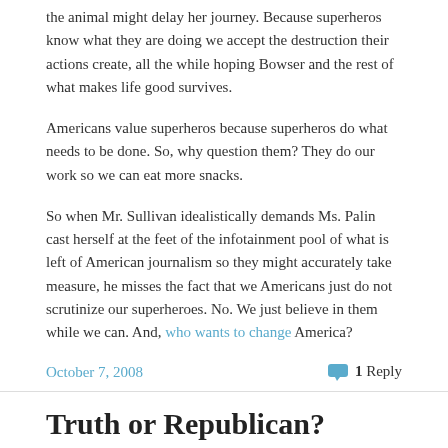the animal might delay her journey. Because superheros know what they are doing we accept the destruction their actions create, all the while hoping Bowser and the rest of what makes life good survives.
Americans value superheros because superheros do what needs to be done. So, why question them? They do our work so we can eat more snacks.
So when Mr. Sullivan idealistically demands Ms. Palin cast herself at the feet of the infotainment pool of what is left of American journalism so they might accurately take measure, he misses the fact that we Americans just do not scrutinize our superheroes. No. We just believe in them while we can. And, who wants to change America?
October 7, 2008
1 Reply
Truth or Republican?
Unless one is extremely wealthy and completely selfish voting for Republicans this year is an indefensible idea. The only people who don't understand this are the ones seduced by the Republican machine